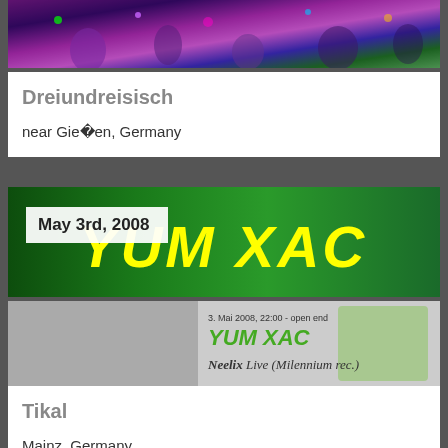[Figure (photo): Colorful outdoor festival scene with crowd, purple and green lighting effects]
Dreiundreisisch
near Gießen, Germany
[Figure (photo): YUM XAC event banner - green background with yellow stylized text, date May 3rd 2008, Neelix Live Milennium rec., bird illustration]
May 3rd, 2008
Tikal
Mainz, Germany